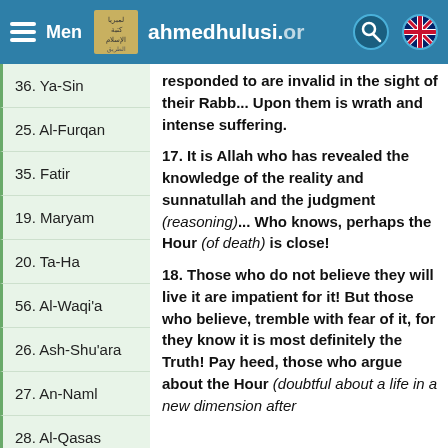Menu | ahmedhulusi.org
36. Ya-Sin
25. Al-Furqan
35. Fatir
19. Maryam
20. Ta-Ha
56. Al-Waqi'a
26. Ash-Shu'ara
27. An-Naml
28. Al-Qasas
responded to are invalid in the sight of their Rabb... Upon them is wrath and intense suffering.
17. It is Allah who has revealed the knowledge of the reality and sunnatullah and the judgment (reasoning)... Who knows, perhaps the Hour (of death) is close!
18. Those who do not believe they will live it are impatient for it! But those who believe, tremble with fear of it, for they know it is most definitely the Truth! Pay heed, those who argue about the Hour (doubtful about a life in a new dimension after